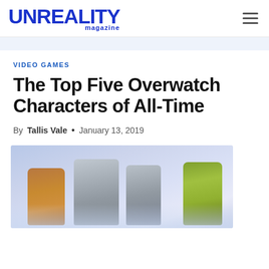UNREALITY magazine
VIDEO GAMES
The Top Five Overwatch Characters of All-Time
By Tallis Vale • January 13, 2019
[Figure (photo): Group of Overwatch video game characters posed together including Tracer, Reinhardt, and Lucio against a light blue/purple background with reflections below]